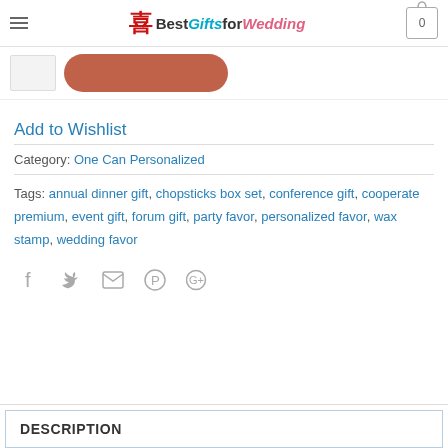BestGiftsforWedding — navigation header with cart
[Figure (screenshot): Product thumbnail image (small) and Add to Cart button (brown/terracotta rounded button)]
Add to Wishlist
Category: One Can Personalized
Tags: annual dinner gift, chopsticks box set, conference gift, cooperate premium, event gift, forum gift, party favor, personalized favor, wax stamp, wedding favor
[Figure (infographic): Social share icons: Facebook (f), Twitter (bird), Email (envelope), Pinterest (P), Google+ (G+)]
DESCRIPTION